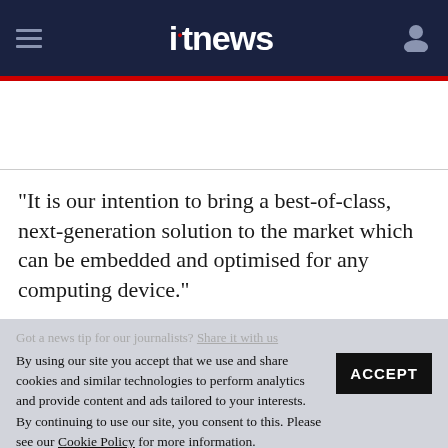itnews
"It is our intention to bring a best-of-class, next-generation solution to the market which can be embedded and optimised for any computing device."
Got a news tip for our journalists? Share it with us anonymously here.
By using our site you accept that we use and share cookies and similar technologies to perform analytics and provide content and ads tailored to your interests. By continuing to use our site, you consent to this. Please see our Cookie Policy for more information.